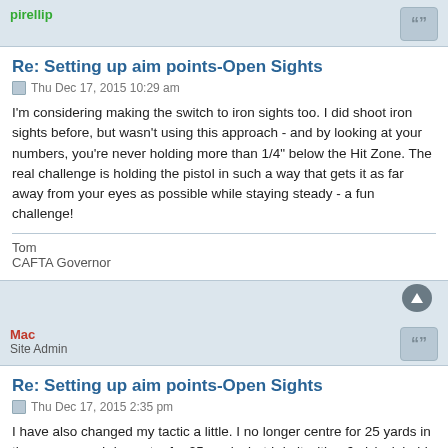pirellip
Re: Setting up aim points-Open Sights
Thu Dec 17, 2015 10:29 am
I'm considering making the switch to iron sights too. I did shoot iron sights before, but wasn't using this approach - and by looking at your numbers, you're never holding more than 1/4" below the Hit Zone. The real challenge is holding the pistol in such a way that gets it as far away from your eyes as possible while staying steady - a fun challenge!
Tom
CAFTA Governor
Mac
Site Admin
Re: Setting up aim points-Open Sights
Thu Dec 17, 2015 2:35 pm
I have also changed my tactic a little. I no longer centre for 25 yards in the same way. I do centre for 25 yards, but I do it with a 6 o'clock hold. So at 25 yards, I sit the bottom of the zone right even with the top of the sight. So this puts my aim about an inch low at 10 yards and slightly over an